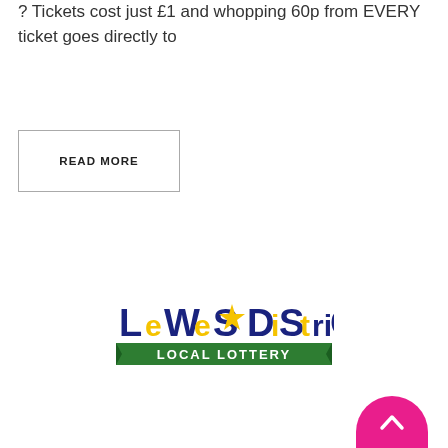? Tickets cost just £1 and whopping 60p from EVERY ticket goes directly to
READ MORE
[Figure (logo): Lewes District Local Lottery logo — dark blue and yellow stylized text 'LeWeS DiStriCt' with a green banner below reading 'LOCAL LOTTERY' and a gold star in the middle]